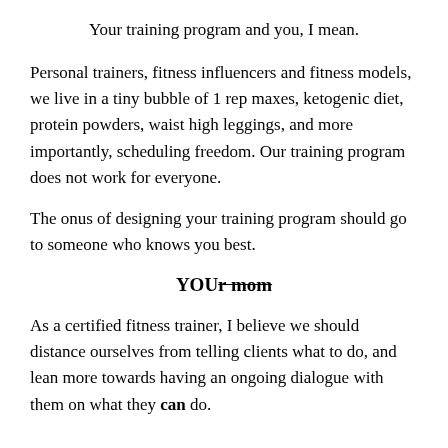Your training program and you, I mean.
Personal trainers, fitness influencers and fitness models, we live in a tiny bubble of 1 rep maxes, ketogenic diet, protein powders, waist high leggings, and more importantly, scheduling freedom. Our training program does not work for everyone.
The onus of designing your training program should go to someone who knows you best.
YOUr mom
As a certified fitness trainer, I believe we should distance ourselves from telling clients what to do, and lean more towards having an ongoing dialogue with them on what they can do.